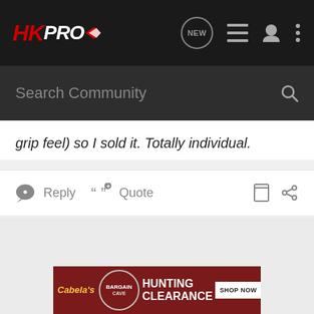HKPRO navigation bar with logo, NEW icon, list icon, user icon, and more icon
Search Community
grip feel) so I sold it. Totally individual.
Reply  Quote
[Figure (screenshot): Cabela's Bargain Cave Hunting Clearance advertisement banner with Shop Now button]